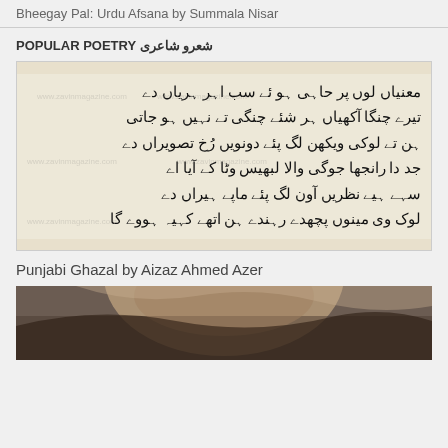Bheegay Pal: Urdu Afsana by Summala Nisar
POPULAR POETRY شعرو شاعری
[Figure (photo): Image of Punjabi/Urdu poetry text handwritten or printed on aged paper background with watermarks, showing verses in Urdu/Punjabi script]
Punjabi Ghazal by Aizaz Ahmed Azer
[Figure (photo): Close-up photo of a person's face, partially visible, dark hair visible at top]